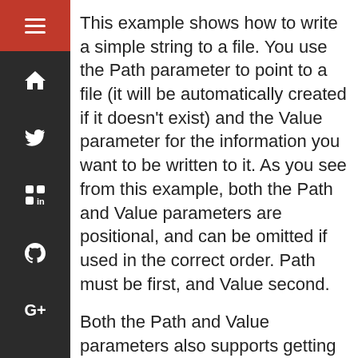This example shows how to write a simple string to a file. You use the Path parameter to point to a file (it will be automatically created if it doesn't exist) and the Value parameter for the information you want to be written to it. As you see from this example, both the Path and Value parameters are positional, and can be omitted if used in the correct order. Path must be first, and Value second.
Both the Path and Value parameters also supports getting values from the pipeline.
'this is a test' | Set-Content ls testfile.txt | Set-Content -